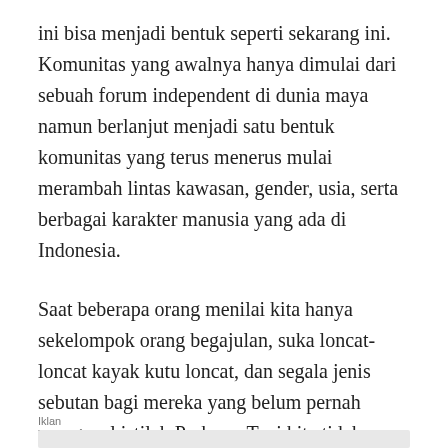ini bisa menjadi bentuk seperti sekarang ini. Komunitas yang awalnya hanya dimulai dari sebuah forum independent di dunia maya namun berlanjut menjadi satu bentuk komunitas yang terus menerus mulai merambah lintas kawasan, gender, usia, serta berbagai karakter manusia yang ada di Indonesia.
Saat beberapa orang menilai kita hanya sekelompok orang begajulan, suka loncat-loncat kayak kutu loncat, dan segala jenis sebutan bagi mereka yang belum pernah mengenal istilah Parkour. Tapi kita tidak merasa kecil hati karena kita sangat memaklumi pendapat orang yang belum mengenal apa itu parkour.
Iklan